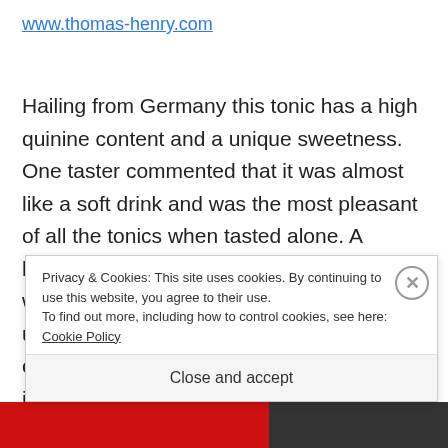www.thomas-henry.com
Hailing from Germany this tonic has a high quinine content and a unique sweetness. One taster commented that it was almost like a soft drink and was the most pleasant of all the tonics when tasted alone. A lemony undertone with very big bubbles this would be the perfect foray for those who are used to drinking lemonade. The least bitter of all the tonics if you like a bite to your g&t it's not for you. Great in a strong tasting
Privacy & Cookies: This site uses cookies. By continuing to use this website, you agree to their use.
To find out more, including how to control cookies, see here: Cookie Policy
Close and accept